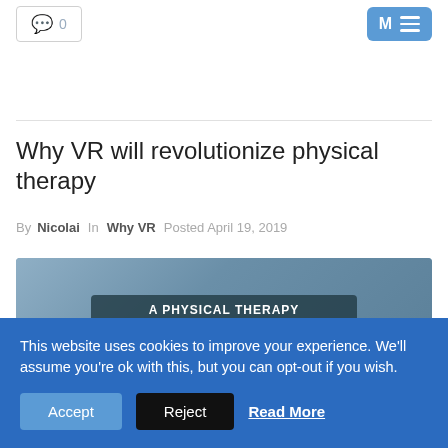0
Why VR will revolutionize physical therapy
By Nicolai  In Why VR  Posted April 19, 2019
[Figure (photo): Article thumbnail showing a physical therapy revolution image with text overlaid: 'A PHYSICAL THERAPY REVOLUTION?']
This website uses cookies to improve your experience. We'll assume you're ok with this, but you can opt-out if you wish. Accept  Reject  Read More